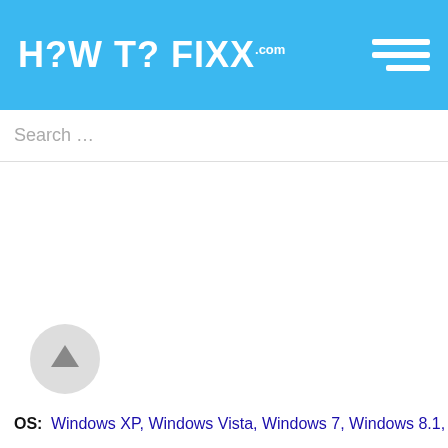HOW TO FIXX.com
Search …
OS: Windows XP, Windows Vista, Windows 7, Windows 8.1,